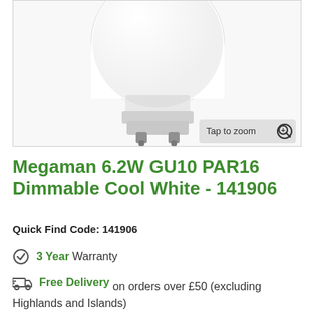[Figure (photo): GU10 PAR16 LED light bulb shown from below at an angle, white dome body with metal GU10 twist-lock pins visible at the bottom. A 'Tap to zoom' badge is in the bottom-right corner of the image.]
Megaman 6.2W GU10 PAR16 Dimmable Cool White - 141906
Quick Find Code: 141906
3 Year Warranty
Free Delivery on orders over £50 (excluding Highlands and Islands)